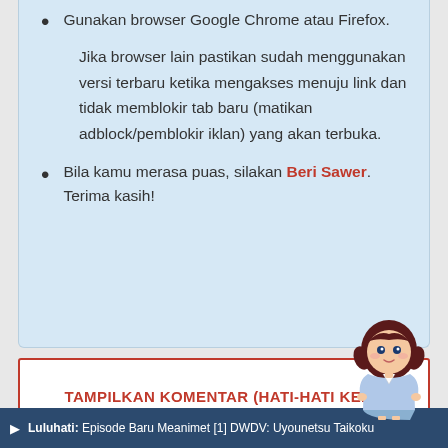Gunakan browser Google Chrome atau Firefox.
Jika browser lain pastikan sudah menggunakan versi terbaru ketika mengakses menuju link dan tidak memblokir tab baru (matikan adblock/pemblokir iklan) yang akan terbuka.
Bila kamu merasa puas, silakan Beri Sawer. Terima kasih!
TAMPILKAN KOMENTAR (HATI-HATI KENA SPOILER)
[Figure (illustration): Anime chibi girl mascot character]
Luluhati: Episode Baru Meanimet [1] DWDV: Uyounetsu Taikoku